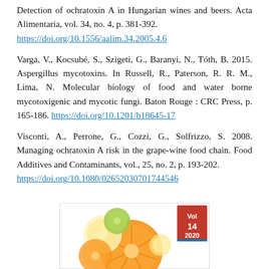Detection of ochratoxin A in Hungarian wines and beers. Acta Alimentaria, vol. 34, no. 4, p. 381-392. https://doi.org/10.1556/aalim.34.2005.4.6
Varga, V., Kocsubé, S., Szigeti, G., Baranyi, N., Tóth, B. 2015. Aspergillus mycotoxins. In Russell, R., Paterson, R. R. M., Lima, N. Molecular biology of food and water borne mycotoxigenic and mycotic fungi. Baton Rouge : CRC Press, p. 165-186. https://doi.org/10.1201/b18645-17
Visconti, A., Perrone, G., Cozzi, G., Solfrizzo, S. 2008. Managing ochratoxin A risk in the grape-wine food chain. Food Additives and Contaminants, vol., 25, no. 2, p. 193-202. https://doi.org/10.1080/02652030701744546
[Figure (illustration): Journal cover illustration showing citrus fruit slices (orange, lime, lemon) with a red badge showing 'Vol 14 2020']